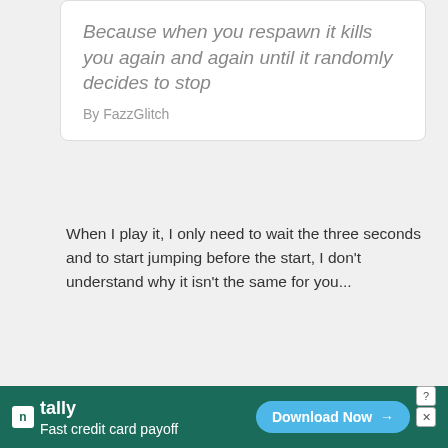Because when you respawn it kills you again and again until it randomly decides to stop
By FazzGlitch
When I play it, I only need to wait the three seconds and to start jumping before the start, I don't understand why it isn't the same for you...
Reply
Connor about 7 years ago · #21392
I couldn't even play..... first level you spawn in the wrong direction and I couldn't even
Fast credit card payoff